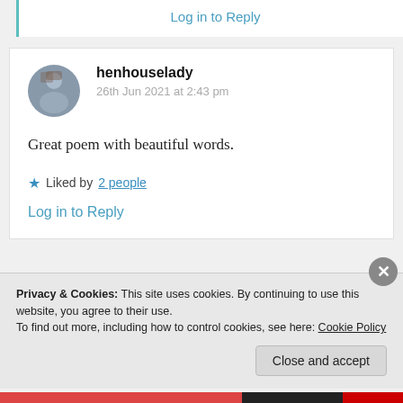Log in to Reply
[Figure (photo): Circular avatar photo of user henhouselady]
henhouselady
26th Jun 2021 at 2:43 pm
Great poem with beautiful words.
Liked by 2 people
Log in to Reply
Privacy & Cookies: This site uses cookies. By continuing to use this website, you agree to their use.
To find out more, including how to control cookies, see here: Cookie Policy
Close and accept